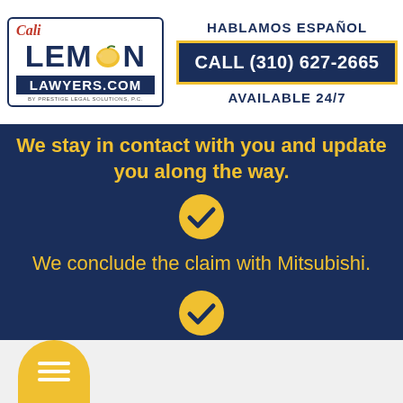[Figure (logo): Cali Lemon Lawyers.com by Prestige Legal Solutions PC logo with lemon icon]
HABLAMOS ESPAÑOL
CALL (310) 627-2665
AVAILABLE 24/7
We stay in contact with you and update you along the way.
We conclude the claim with Mitsubishi.
You receive your check.